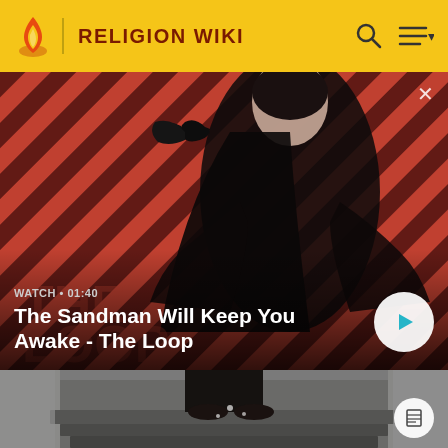RELIGION WIKI
[Figure (screenshot): Video promo panel for 'The Sandman Will Keep You Awake - The Loop'. Shows a pale dark-haired figure in a black cape with a raven on shoulder, against a red and dark diagonal stripe background. Bottom-left shows 'WATCH • 01:40' and the video title. A circular play button is at bottom-right. A close X is at top-right.]
[Figure (photo): Lower photo panel showing the lower body and feet of a dark figure standing on stone steps, with stone architectural elements visible on sides.]